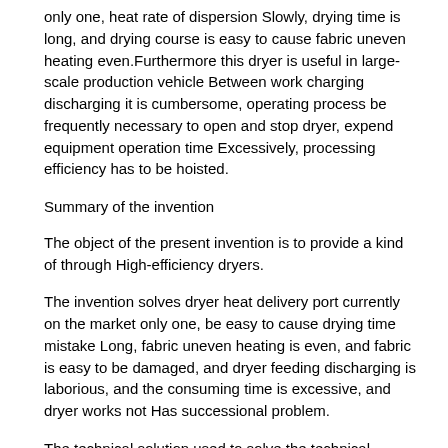only one, heat rate of dispersion Slowly, drying time is long, and drying course is easy to cause fabric uneven heating even.Furthermore this dryer is useful in large-scale production vehicle Between work charging discharging it is cumbersome, operating process be frequently necessary to open and stop dryer, expend equipment operation time Excessively, processing efficiency has to be hoisted.
Summary of the invention
The object of the present invention is to provide a kind of through High-efficiency dryers.
The invention solves dryer heat delivery port currently on the market only one, be easy to cause drying time mistake Long, fabric uneven heating is even, and fabric is easy to be damaged, and dryer feeding discharging is laborious, and the consuming time is excessive, and dryer works not Has successional problem.
The technical solution used to solve the technical problems of the present invention is that: the present invention includes rack, roller and gas diversion group Part The roller is mounted on machine frame inside, and